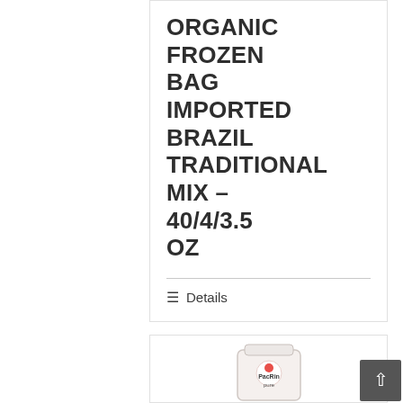ORGANIC FROZEN BAG IMPORTED BRAZIL TRADITIONAL MIX – 40/4/3.5 OZ
Details
[Figure (photo): Partial view of a white jar with a logo visible at bottom of page]